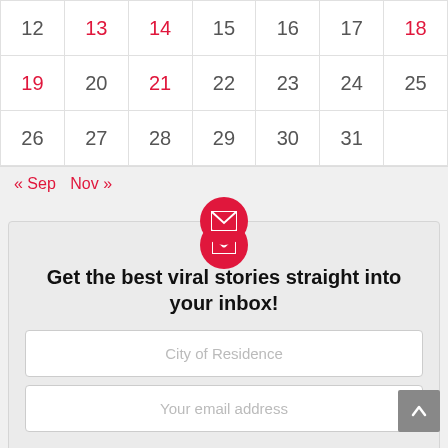| 12 | 13 | 14 | 15 | 16 | 17 | 18 |
| 19 | 20 | 21 | 22 | 23 | 24 | 25 |
| 26 | 27 | 28 | 29 | 30 | 31 |  |
« Sep   Nov »
[Figure (other): Red circular email icon with white envelope]
Get the best viral stories straight into your inbox!
City of Residence
Your email address